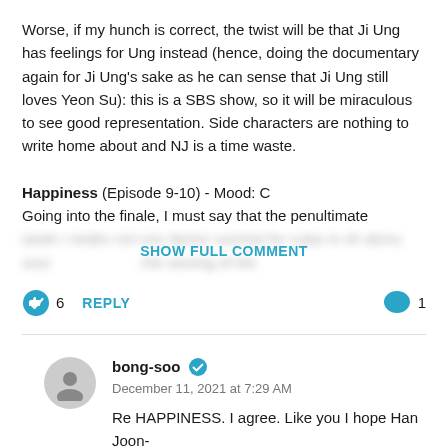Worse, if my hunch is correct, the twist will be that Ji Ung has feelings for Ung instead (hence, doing the documentary again for Ji Ung's sake as he can sense that Ji Ung still loves Yeon Su): this is a SBS show, so it will be miraculous to see good representation. Side characters are nothing to write home about and NJ is a time waste.

Happiness (Episode 9-10) - Mood: C
Going into the finale, I must say that the penultimate [blurred]
SHOW FULL COMMENT
6  REPLY   1
bong-soo
December 11, 2021 at 7:29 AM
Re HAPPINESS. I agree. Like you I hope Han Joon-